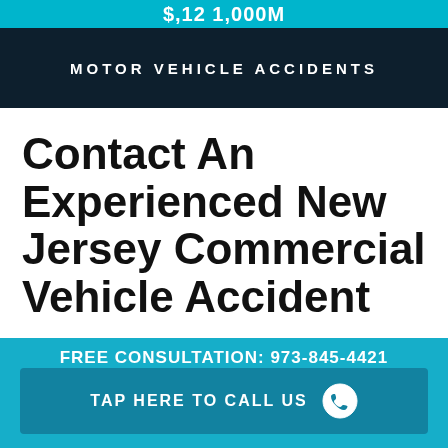$,12 1,000M
MOTOR VEHICLE ACCIDENTS
Contact An Experienced New Jersey Commercial Vehicle Accident
FREE CONSULTATION: 973-845-4421
TAP HERE TO CALL US